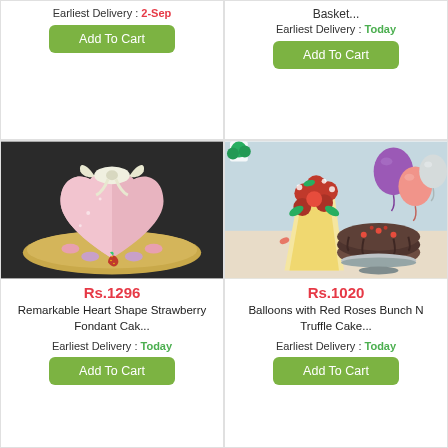Earliest Delivery : 2-Sep
Add To Cart
Basket...
Earliest Delivery : Today
Add To Cart
[Figure (photo): Heart shape pink strawberry fondant cake with white bow on gold tray, decorated with macarons and strawberry]
Rs.1296
Remarkable Heart Shape Strawberry Fondant Cak...
Earliest Delivery : Today
Add To Cart
[Figure (photo): Red roses bunch with purple and pink balloons and chocolate truffle cake on white stand]
Rs.1020
Balloons with Red Roses Bunch N Truffle Cake...
Earliest Delivery : Today
Add To Cart